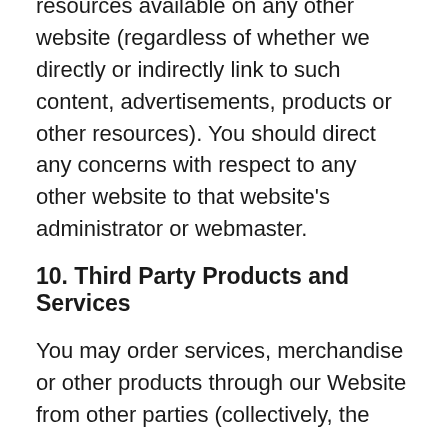resources available on any other website (regardless of whether we directly or indirectly link to such content, advertisements, products or other resources). You should direct any concerns with respect to any other website to that website's administrator or webmaster.
10. Third Party Products and Services
You may order services, merchandise or other products through our Website from other parties (collectively, the